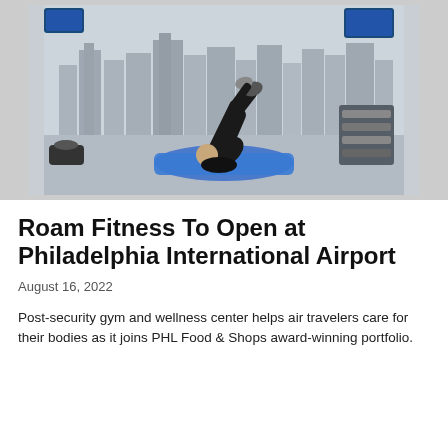[Figure (photo): A man performing a V-sit or leg raise exercise on a blue yoga mat on the floor of a gym. He is lying on his back with his legs raised and torso lifted, reaching toward his feet. In the background there is a cityscape mural on the wall, gym equipment including dumbbells on a rack, and screens mounted on the wall.]
Roam Fitness To Open at Philadelphia International Airport
August 16, 2022
Post-security gym and wellness center helps air travelers care for their bodies as it joins PHL Food & Shops award-winning portfolio.